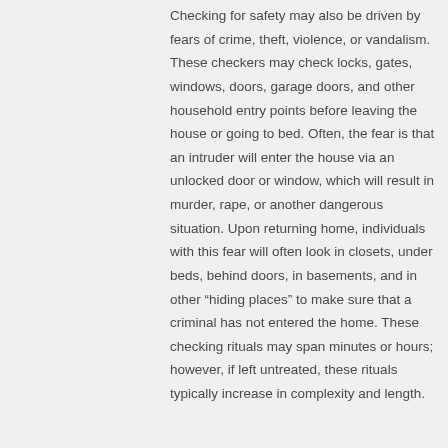Checking for safety may also be driven by fears of crime, theft, violence, or vandalism. These checkers may check locks, gates, windows, doors, garage doors, and other household entry points before leaving the house or going to bed. Often, the fear is that an intruder will enter the house via an unlocked door or window, which will result in murder, rape, or another dangerous situation. Upon returning home, individuals with this fear will often look in closets, under beds, behind doors, in basements, and in other “hiding places” to make sure that a criminal has not entered the home. These checking rituals may span minutes or hours; however, if left untreated, these rituals typically increase in complexity and length.